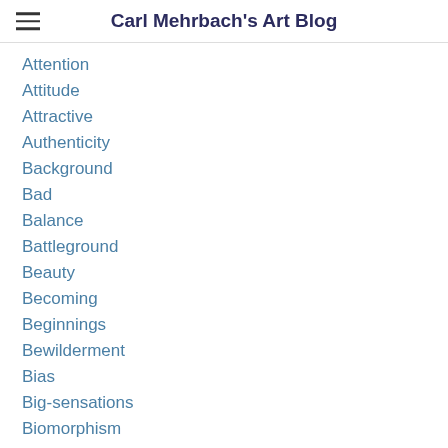Carl Mehrbach's Art Blog
Attention
Attitude
Attractive
Authenticity
Background
Bad
Balance
Battleground
Beauty
Becoming
Beginnings
Bewilderment
Bias
Big-sensations
Biomorphism
Black
Blindness
Boggle